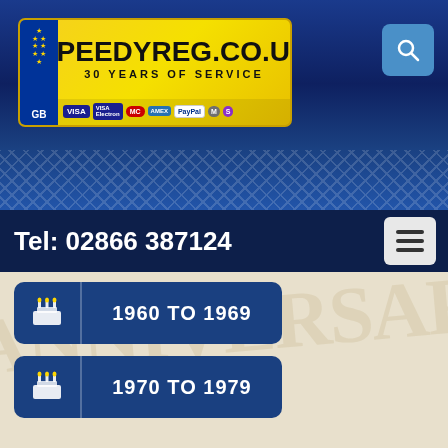[Figure (logo): SpeedyReg.co.uk logo on yellow number plate background with EU symbol, GB text, and payment card icons (VISA, Visa Electron, Mastercard, American Express, PayPal, Maestro, Solo)]
Tel: 02866 387124
1960 TO 1969
1970 TO 1979
1980 TO 1989
1990 TO 1999